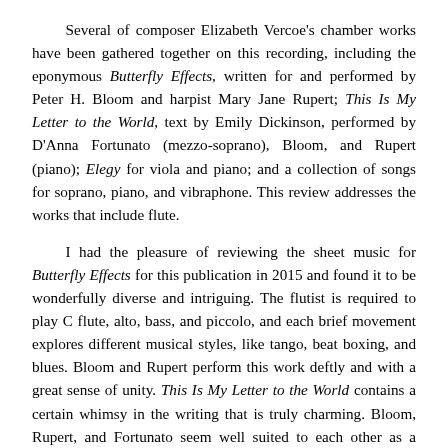Several of composer Elizabeth Vercoe's chamber works have been gathered together on this recording, including the eponymous Butterfly Effects, written for and performed by Peter H. Bloom and harpist Mary Jane Rupert; This Is My Letter to the World, text by Emily Dickinson, performed by D'Anna Fortunato (mezzo-soprano), Bloom, and Rupert (piano); Elegy for viola and piano; and a collection of songs for soprano, piano, and vibraphone. This review addresses the works that include flute.
I had the pleasure of reviewing the sheet music for Butterfly Effects for this publication in 2015 and found it to be wonderfully diverse and intriguing. The flutist is required to play C flute, alto, bass, and piccolo, and each brief movement explores different musical styles, like tango, beat boxing, and blues. Bloom and Rupert perform this work deftly and with a great sense of unity. This Is My Letter to the World contains a certain whimsy in the writing that is truly charming. Bloom, Rupert, and Fortunato seem well suited to each other as a chamber ensemble, although I do